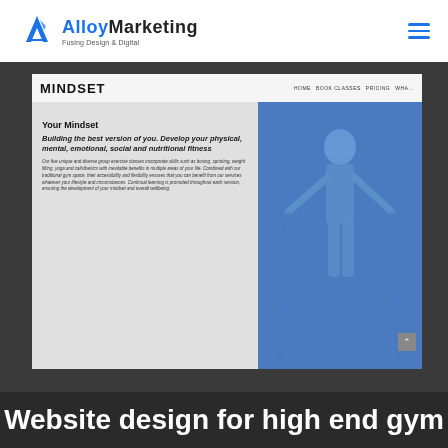Alloy Marketing — Fusing Design & Digital
[Figure (screenshot): Screenshot of a laptop display showing the Mindset gym website mockup. The site displays a MINDSET logo, navigation links (HOME, BOOK CLASSES, PRICING, WHAT), a left grey panel with 'Your Mindset' heading and body content about fitness classes, and a right blue panel with a woman performing battle ropes exercise.]
Website design for high end gym